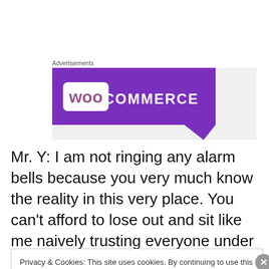Advertisements
[Figure (logo): WooCommerce logo on purple banner background]
Mr. Y: I am not ringing any alarm bells because you very much know the reality in this very place. You can’t afford to lose out and sit like me naively trusting everyone under the sun 😟
Privacy & Cookies: This site uses cookies. By continuing to use this website, you agree to their use.
To find out more, including how to control cookies, see here: Cookie Policy